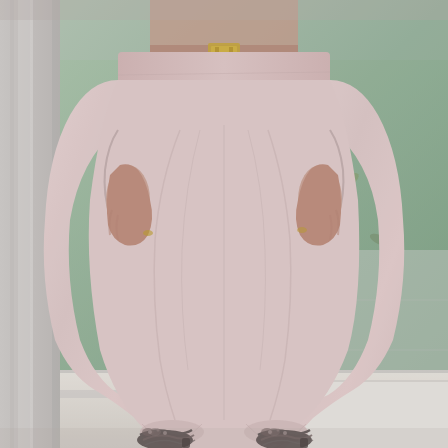[Figure (photo): Close-up photograph of a person wearing light pink/blush harem-style pants with a wide waistband and a thin gold belt. The pants are flowy and gathered at the ankles. The person also wears ornate dark lace-up heeled sandals. Their hands are tucked into the side pockets of the pants. The background shows a reflective water feature or wet stone surface with fallen leaves, next to what appears to be a metal railing and stone steps.]